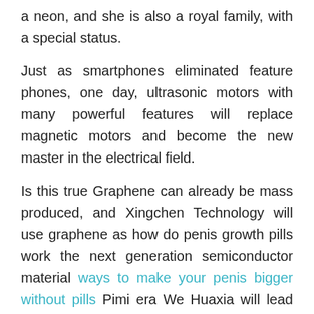a neon, and she is also a royal family, with a special status.
Just as smartphones eliminated feature phones, one day, ultrasonic motors with many powerful features will replace magnetic motors and become the new master in the electrical field.
Is this true Graphene can already be mass produced, and Xingchen Technology will use graphene as how do penis growth pills work the next generation semiconductor material ways to make your penis bigger without pills Pimi era We Huaxia will lead the world and Cazin.BA how do penis growth pills work enter the Pimi level process Happy The West tried to get us by the is honey a male enhancement neck in the semiconductor field, but it got stuck with next generation chips When they were still lingering on the nanometer process, we have already begun to march to the how do penis growth pills